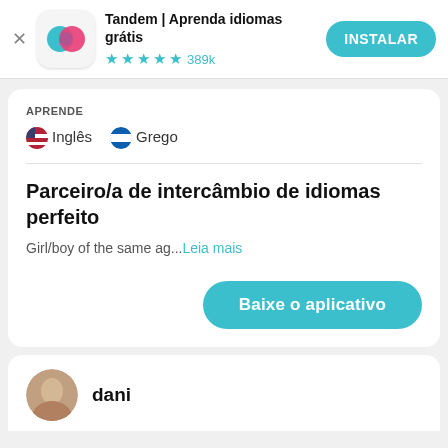[Figure (screenshot): App banner with Tandem app icon (teal and pink overlapping circles on white rounded square background), close X button, app name, star rating, and INSTALAR button]
Tandem | Aprenda idiomas grátis
★★★★★ 389k
APRENDE
🇺🇸 Inglês  🇬🇷 Grego
Parceiro/a de intercâmbio de idiomas perfeito
Girl/boy of the same ag...Leia mais
Baixe o aplicativo
dani